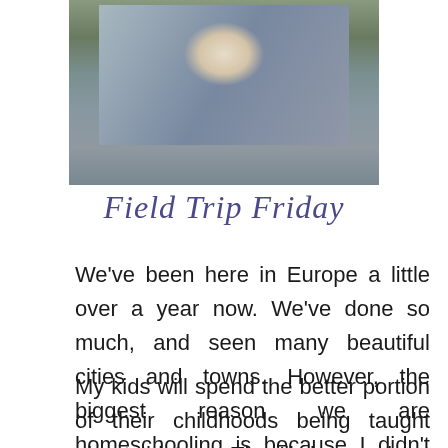[Figure (photo): A child in a blue striped shirt looking downward, photographed outdoors with foliage in background]
Field Trip Friday
We've been here in Europe a little over a year now. We've done so much, and seen many beautiful cities and towns. However, the biggest reason we are homeschooling is because I didn't want to squander this opportunity.
My kids will spend the better portion of their childhoods being taught about history. They'll learn about distant wars and countries, memorize facts, and look at pictures…. But right now, we have SO much at our fingertips. We are